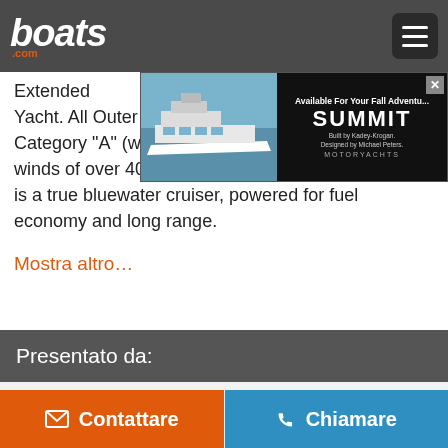boats.com
[Figure (screenshot): Advertisement banner: Summit Motoryachts ad with a yacht photo on the left and text 'Available For Your Fall Adventure SUMMIT Built by Kadey-Krogan. Designed by Michael Peters.' on dark background]
Extended ... cept for an Outer Reef Yacht. All Outer Reef Yachts are built to open Ocean Category "A" (wave heights 18-20' and sustained winds of over 40 knots. This 63' Cockpit Outer Reef  is a true bluewater cruiser, powered for fuel economy and long range.
Mostra altro…
Presentato da:
Outer Reef Yachts
3601 E Oakland Park Blvd